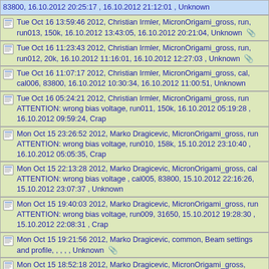83800, 16.10.2012 20:25:17 , 16.10.2012 21:12:01 , Unknown
Tue Oct 16 13:59:46 2012, Christian Irmler, MicronOrigami_gross, run, run013, 150k, 16.10.2012 13:43:05, 16.10.2012 20:21:04, Unknown [attachment]
Tue Oct 16 11:23:43 2012, Christian Irmler, MicronOrigami_gross, run, run012, 20k, 16.10.2012 11:16:01, 16.10.2012 12:27:03 , Unknown [attachment]
Tue Oct 16 11:07:17 2012, Christian Irmler, MicronOrigami_gross, cal, cal006, 83800, 16.10.2012 10:30:34, 16.10.2012 11:00:51, Unknown
Tue Oct 16 05:24:21 2012, Christian Irmler, MicronOrigami_gross, run ATTENTION: wrong bias voltage, run011, 150k, 16.10.2012 05:19:28 , 16.10.2012 09:59:24, Crap
Mon Oct 15 23:26:52 2012, Marko Dragicevic, MicronOrigami_gross, run ATTENTION: wrong bias voltage, run010, 158k, 15.10.2012 23:10:40 , 16.10.2012 05:05:35, Crap
Mon Oct 15 22:13:28 2012, Marko Dragicevic, MicronOrigami_gross, cal ATTENTION: wrong bias voltage , cal005, 83800, 15.10.2012 22:16:26, 15.10.2012 23:07:37 , Unknown
Mon Oct 15 19:40:03 2012, Marko Dragicevic, MicronOrigami_gross, run ATTENTION: wrong bias voltage, run009, 31650, 15.10.2012 19:28:30 , 15.10.2012 22:08:31 , Crap
Mon Oct 15 19:21:56 2012, Marko Dragicevic, common, Beam settings and profile, , , , , Unknown [attachment]
Mon Oct 15 18:52:18 2012, Marko Dragicevic, MicronOrigami_gross, Stack configuration, Belle Stack 2, , , , Unknown
Mon Oct 15 00:08:26 2012, Marko Dragicevic, Infineon, run, run008, 339075, 15.10.2012 01:49:33, 15.10.2012 08:04:24, Unknown
[partial entry visible]